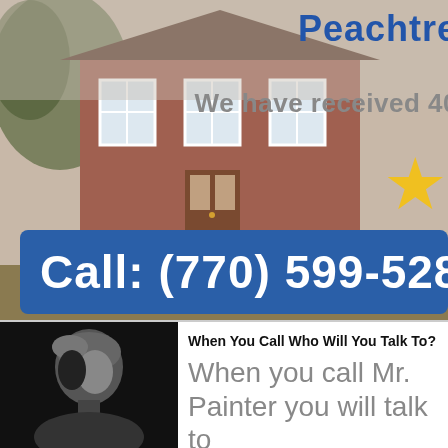[Figure (photo): Background photo of a brick house with white trim windows, overlaid with branding text, review count, star rating, and a blue call-to-action bar showing phone number]
Peachtre
We have received 40
[Figure (illustration): Yellow star rating icon]
Call: (770) 599-5282
[Figure (photo): Black and white portrait photo of a man seen from behind/side]
When You Call Who Will You Talk To?
When you call Mr. Painter you will talk to